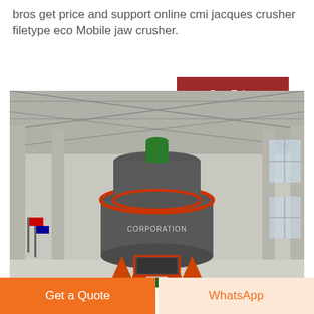bros get price and support online cmi jacques crusher filetype eco Mobile jaw crusher.
[Figure (other): Button labeled 'Get Price' with dark red background]
[Figure (photo): Industrial grinding mill machine (large grey vertical cylindrical mill with red trim/rings and orange support legs) inside a large factory warehouse with steel truss roof, concrete pillars, and international flags visible in the background.]
[Figure (other): Two buttons at the bottom: 'Get a Quote' (orange background, white text) and 'WhatsApp' (light orange background, orange text)]